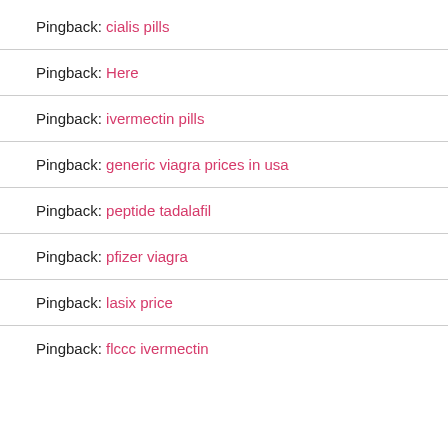Pingback: cialis pills
Pingback: Here
Pingback: ivermectin pills
Pingback: generic viagra prices in usa
Pingback: peptide tadalafil
Pingback: pfizer viagra
Pingback: lasix price
Pingback: flccc ivermectin